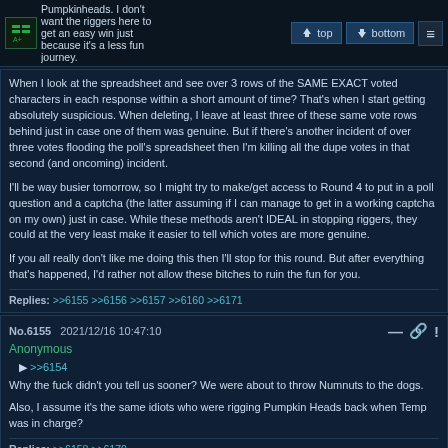Pumpkinheads. I don't want the riggers here to get an easy win just because it's a less fun journey. [top] [bottom]
When I look at the spreadsheet and see over 3 rows of the SAME EXACT voted characters in each response within a short amount of time? That's when I start getting absolutely suspicious. When deleting, I leave at least three of these same vote rows behind just in case one of them was genuine. But if there's another incident of over three votes flooding the poll's spreadsheet then I'm killing all the dupe votes in that second (and oncoming) incident.

I'll be way busier tomorrow, so I might try to make/get access to Round 4 to put in a poll question and a captcha (the latter assuming if I can manage to get in a working captcha on my own) just in case. While these methods aren't IDEAL in stopping riggers, they could at the very least make it easier to tell which votes are more genuine.

If you all really don't like me doing this then I'll stop for this round. But after everything that's happened, I'd rather not allow these bitches to ruin the fun for you.
Replies: >>6155 >>6156 >>6157 >>6160 >>6171
No.6155  2021/12/16 10:47:10
Anonymous
>>6154
Why the fuck didn't you tell us sooner? We were about to throw Numnuts to the dogs.

Also, I assume it's the same idiots who were rigging Pumpkin Heads back when Temp was in charge?
Replies: >>6158 >>6170
No.6156  2021/12/16 10:48:12
Anonymous
>>6154